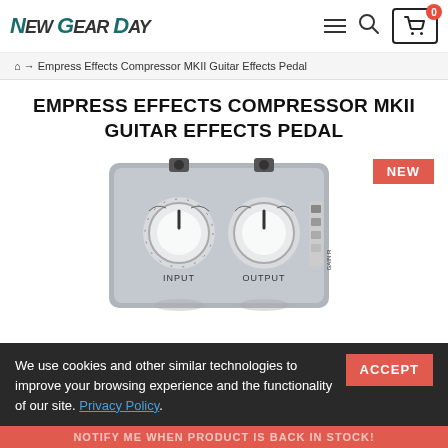New Gear Day — navigation header with logo, hamburger menu, search icon, and cart (0)
🏠 → Empress Effects Compressor MKII Guitar Effects Pedal
EMPRESS EFFECTS COMPRESSOR MKII GUITAR EFFECTS PEDAL
[Figure (photo): Empress Effects Compressor MKII guitar effects pedal — a silver/grey rectangular pedal with two large knobs labeled INPUT and OUTPUT, two small black jacks on top, and a GAIN REDUCTION indicator on the right side. A red NEW badge is shown in the top-right of the image area.]
We use cookies and other similar technologies to improve your browsing experience and the functionality of our site. Privacy Policy.
NOTIFY ME WHEN PRODUCT IS BACK IN STOCK!